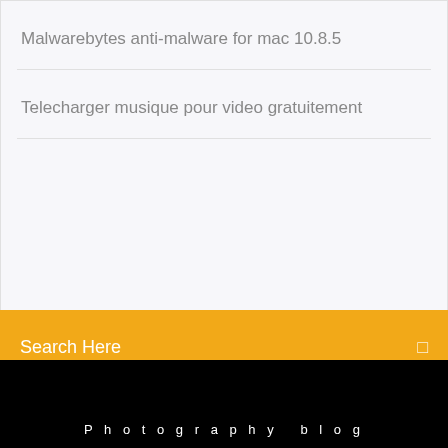Malwarebytes anti-malware for mac 10.8.5
Telecharger musique pour video gratuitement
Search Here
Photography blog